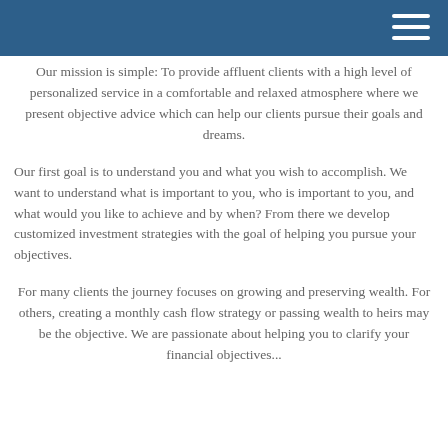Our mission is simple: To provide affluent clients with a high level of personalized service in a comfortable and relaxed atmosphere where we present objective advice which can help our clients pursue their goals and dreams.
Our first goal is to understand you and what you wish to accomplish. We want to understand what is important to you, who is important to you, and what would you like to achieve and by when? From there we develop customized investment strategies with the goal of helping you pursue your objectives.
For many clients the journey focuses on growing and preserving wealth. For others, creating a monthly cash flow strategy or passing wealth to heirs may be the objective. We are passionate about helping you to clarify your financial objectives...